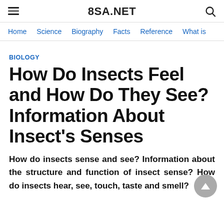8SA.NET
Home   Science   Biography   Facts   Reference   What is
BIOLOGY
How Do Insects Feel and How Do They See? Information About Insect's Senses
How do insects sense and see? Information about the structure and function of insect sense? How do insects hear, see, touch, taste and smell?